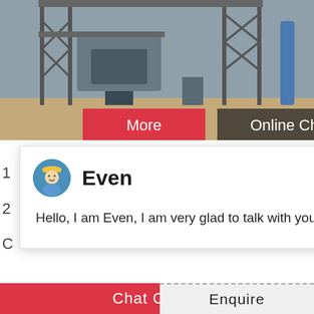[Figure (photo): Industrial steel structure / conveyor system facility viewed from above, with metal scaffolding and equipment]
More
Online Chat
[Figure (screenshot): Live chat popup with avatar of agent named 'Even' saying 'Hello, I am Even, I am very glad to talk with you!']
Hello, I am Even, I am very glad to talk with you!
by an onboard genset powerpack configuration an external power source. Both power option
[Figure (photo): Customer service representative with headset, smiling, with blue notification badge showing number 1]
Need questions & suggestion?
Chat Now
[Figure (photo): Industrial equipment / product photo, lower left]
Chat Online
Enquire